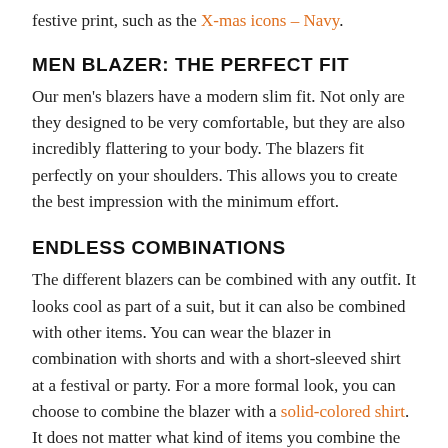festive print, such as the X-mas icons – Navy.
MEN BLAZER: THE PERFECT FIT
Our men's blazers have a modern slim fit. Not only are they designed to be very comfortable, but they are also incredibly flattering to your body. The blazers fit perfectly on your shoulders. This allows you to create the best impression with the minimum effort.
ENDLESS COMBINATIONS
The different blazers can be combined with any outfit. It looks cool as part of a suit, but it can also be combined with other items. You can wear the blazer in combination with shorts and with a short-sleeved shirt at a festival or party. For a more formal look, you can choose to combine the blazer with a solid-colored shirt. It does not matter what kind of items you combine the